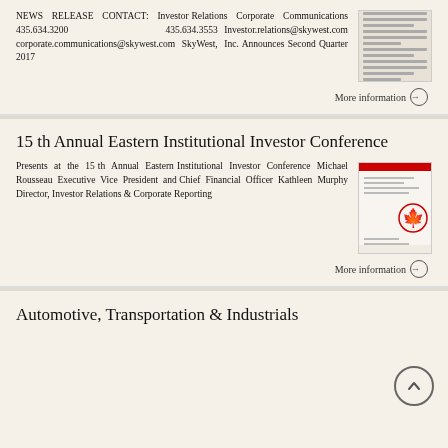NEWS RELEASE CONTACT: Investor Relations Corporate Communications 435.634.3200 435.634.3553 Investor.relations@skywest.com corporate.communications@skywest.com SkyWest, Inc. Announces Second Quarter 2017
[Figure (other): Thumbnail image of a news release document with lines of text]
More information →
15 th Annual Eastern Institutional Investor Conference
Presents at the 15 th Annual Eastern Institutional Investor Conference Michael Rousseau Executive Vice President and Chief Financial Officer Kathleen Murphy Director, Investor Relations & Corporate Reporting
[Figure (other): Thumbnail image of a document with Canadian maple leaf branding in red and white]
More information →
Automotive, Transportation & Industrials